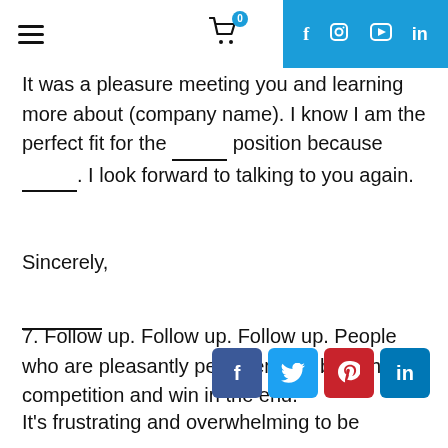Navigation bar with hamburger menu, cart icon with badge 0, and social links (f, instagram, youtube, in) on blue background
It was a pleasure meeting you and learning more about (company name). I know I am the perfect fit for the ______ position because ______. I look forward to talking to you again.
Sincerely,
______
7. Follow up. Follow up. Follow up. People who are pleasantly persistent will beat the competition and win in the end.
[Figure (other): Social share buttons: Facebook (blue), Twitter (light blue), Pinterest (red), LinkedIn (dark blue)]
It's frustrating and overwhelming to be